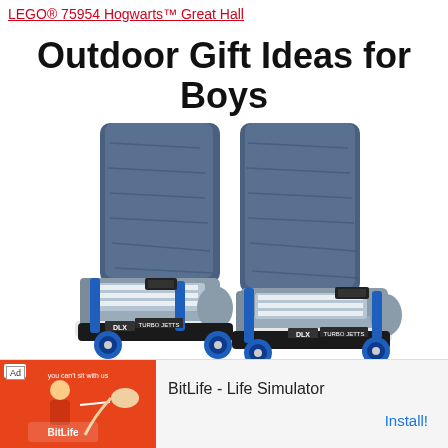LEGO® 75954 Hogwarts™ Great Hall
Outdoor Gift Ideas for Boys
[Figure (photo): Close-up photo of a person wearing Razor Turbo Jetts DLX motorized heel wheels/skates attached to sneakers. The wheels are blue and the straps are blue. The person is wearing jeans.]
[Figure (screenshot): Advertisement banner for BitLife - Life Simulator app. Orange background with illustrated characters on left side. Ad badge visible. Shows 'BitLife - Life Simulator' text and 'Install!' button in blue.]